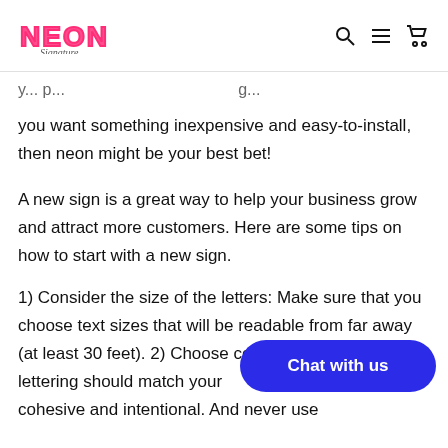NEON Signature [logo] [search icon] [menu icon] [cart icon]
you want something inexpensive and easy-to-install, then neon might be your best bet!
A new sign is a great way to help your business grow and attract more customers. Here are some tips on how to start with a new sign.
1) Consider the size of the letters: Make sure that you choose text sizes that will be readable from far away (at least 30 feet). 2) Choose colors ... of your lettering should match your ..., so it looks cohesive and intentional. And never use
[Figure (other): Blue rounded rectangle chat button with white text 'Chat with us']